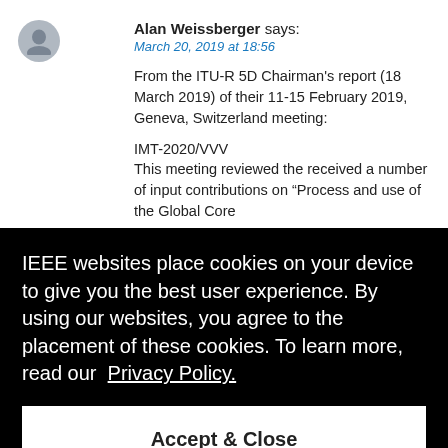Alan Weissberger says:
March 20, 2019 at 18:56
From the ITU-R 5D Chairman's report (18 March 2019) of their 11-15 February 2019, Geneva, Switzerland meeting:
IMT-2020/VVV
This meeting reviewed the received a number of input contributions on “Process and use of the Global Core
[Figure (screenshot): Cookie consent overlay on a webpage. Black background with white text: 'IEEE websites place cookies on your device to give you the best user experience. By using our websites, you agree to the placement of these cookies. To learn more, read our Privacy Policy.' followed by an Accept & Close button.]
during the course of the 31 bis meeting (based on